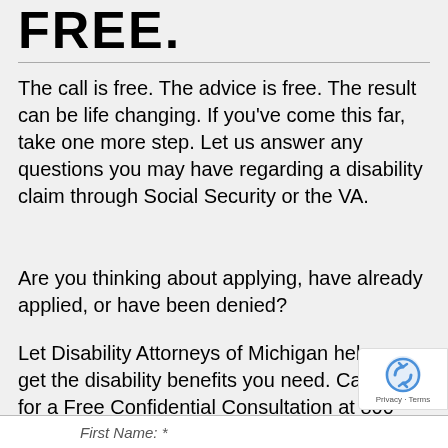FREE.
The call is free. The advice is free. The result can be life changing. If you’ve come this far, take one more step. Let us answer any questions you may have regarding a disability claim through Social Security or the VA.
Are you thinking about applying, have already applied, or have been denied?
Let Disability Attorneys of Michigan help you get the disability benefits you need. Call us for a Free Confidential Consultation at 800-949-2900 t
First Name: *